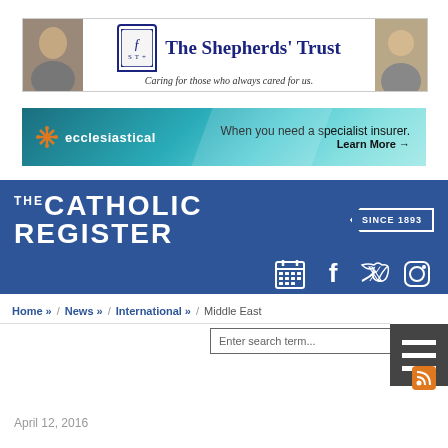[Figure (infographic): The Shepherds' Trust banner ad with two elderly men photos, logo, and tagline 'Caring for those who always cared for us.']
[Figure (infographic): Ecclesiastical insurance banner ad: teal gradient background, snowflake logo, text 'When you need a specialist insurer. Learn More →']
[Figure (logo): The Catholic Register masthead logo in white on dark blue background, with 'SINCE 1893' badge and social media icons (calendar, Facebook, Twitter, Instagram)]
Home » / News » / International » / Middle East
Enter search term...
April 12, 2016